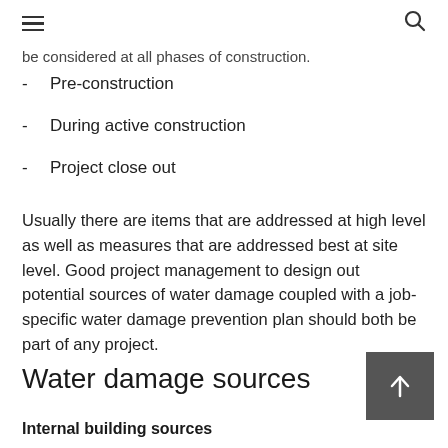be considered at all phases of construction.
Pre-construction
During active construction
Project close out
Usually there are items that are addressed at high level as well as measures that are addressed best at site level. Good project management to design out potential sources of water damage coupled with a job-specific water damage prevention plan should both be part of any project.
Water damage sources
Internal building sources